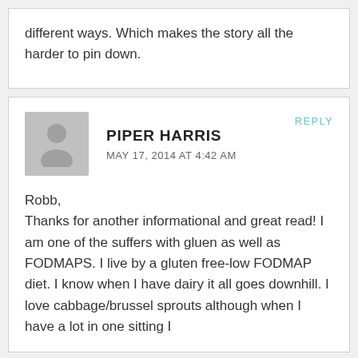different ways. Which makes the story all the harder to pin down.
PIPER HARRIS
MAY 17, 2014 AT 4:42 AM
Robb,
Thanks for another informational and great read! I am one of the suffers with gluen as well as FODMAPS. I live by a gluten free-low FODMAP diet. I know when I have dairy it all goes downhill. I love cabbage/brussel sprouts although when I have a lot in one sitting I